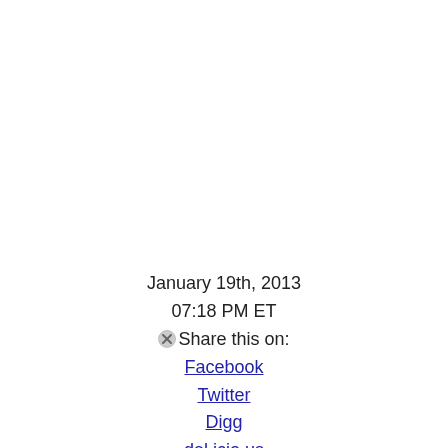January 19th, 2013
07:18 PM ET
Share this on:
Facebook
Twitter
Digg
del.icio.us
reddit
MySpace
StumbleUpon
Comments (1...)